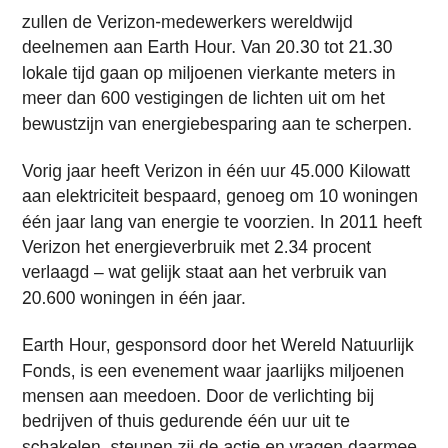zullen de Verizon-medewerkers wereldwijd deelnemen aan Earth Hour. Van 20.30 tot 21.30 lokale tijd gaan op miljoenen vierkante meters in meer dan 600 vestigingen de lichten uit om het bewustzijn van energiebesparing aan te scherpen.
Vorig jaar heeft Verizon in één uur 45.000 Kilowatt aan elektriciteit bespaard, genoeg om 10 woningen één jaar lang van energie te voorzien. In 2011 heeft Verizon het energieverbruik met 2.34 procent verlaagd – wat gelijk staat aan het verbruik van 20.600 woningen in één jaar.
Earth Hour, gesponsord door het Wereld Natuurlijk Fonds, is een evenement waar jaarlijks miljoenen mensen aan meedoen. Door de verlichting bij bedrijven of thuis gedurende één uur uit te schakelen, steunen zij de actie en vragen daarmee aandacht voor het veranderende klimaat, een schonere, veiligere en een meer zekere toekomst.
Het wereldwijde evenement wordt nu voor het zesde jaar georganiseerd. De lichten van wereldwijde iconen zoals de Sydney Harbour Bridge in Australië, Buckingham Palace in Londen, de Eiffeltoren in Parijs, het 101 Financial Center in